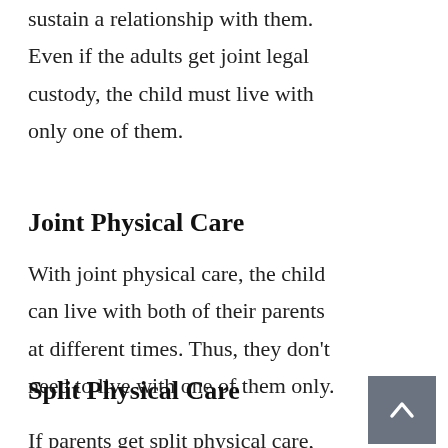sustain a relationship with them. Even if the adults get joint legal custody, the child must live with only one of them.
Joint Physical Care
With joint physical care, the child can live with both of their parents at different times. Thus, they don't need to live with one of them only.
Split Physical Care
If parents get split physical care,